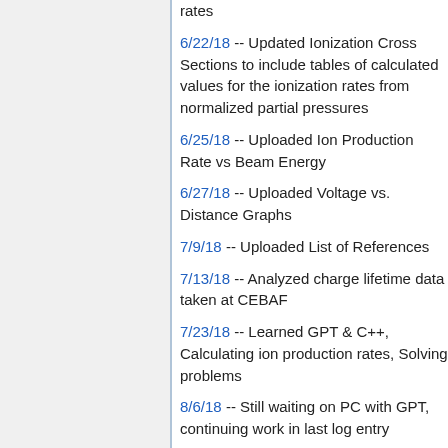rates
6/22/18 -- Updated Ionization Cross Sections to include tables of calculated values for the ionization rates from normalized partial pressures
6/25/18 -- Uploaded Ion Production Rate vs Beam Energy
6/27/18 -- Uploaded Voltage vs. Distance Graphs
7/9/18 -- Uploaded List of References
7/13/18 -- Analyzed charge lifetime data taken at CEBAF
7/23/18 -- Learned GPT & C++, Calculating ion production rates, Solving problems
8/6/18 -- Still waiting on PC with GPT, continuing work in last log entry
8/9/18 -- Still writing on PC with GPT